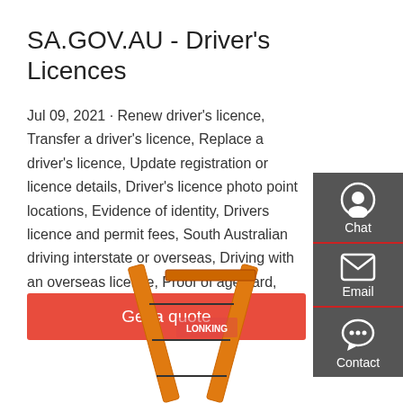SA.GOV.AU - Driver's Licences
Jul 09, 2021 · Renew driver's licence, Transfer a driver's licence, Replace a driver's licence, Update registration or licence details, Driver's licence photo point locations, Evidence of identity, Drivers licence and permit fees, South Australians driving interstate or overseas, Driving with an overseas licence, Proof of age card, Driver's licence classes, Licence conditions, restrictions and …
[Figure (infographic): Dark grey sidebar panel with Chat (headset icon), Email (envelope icon), and Contact (speech bubble icon) buttons]
Get a quote
[Figure (photo): Orange and red crane or lifting equipment arm shown from below against white background, branded Lonking]